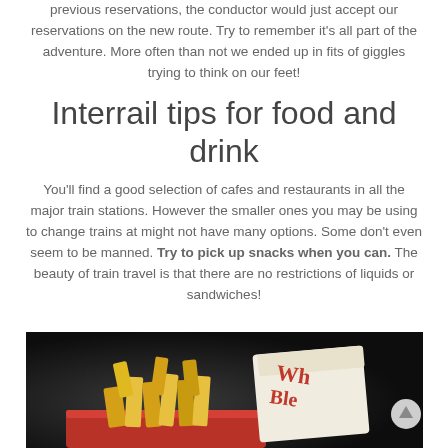previous reservations, the conductor would just accept our reservations on the new route. Try to remember it's all part of the adventure. More often than not we ended up in fits of giggles trying to think on our feet!
Interrail tips for food and drink
You'll find a good selection of cafes and restaurants in all the major train stations. However the smaller ones you may be using to change trains at might not have many options. Some don't even seem to be manned. Try to pick up snacks when you can. The beauty of train travel is that there are no restrictions of liquids or sandwiches!
[Figure (photo): Photo of french fries and fast food packaging on a red tray, dark background]